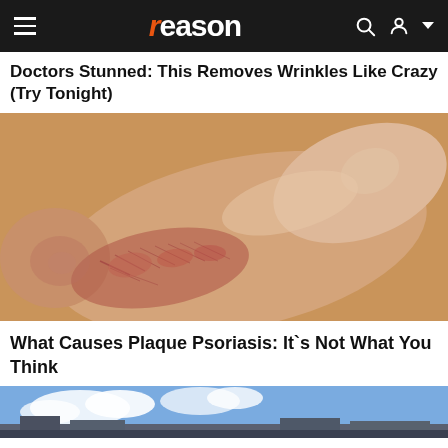reason
Doctors Stunned: This Removes Wrinkles Like Crazy (Try Tonight)
[Figure (photo): Close-up of the sole and heel of a human foot showing dry, scaly, cracked skin consistent with plaque psoriasis or severe dry skin, against a tan/ochre background.]
What Causes Plaque Psoriasis: It`s Not What You Think
[Figure (photo): Partial view of an outdoor scene with blue sky, clouds, and what appears to be building structures — teaser image for a third article.]